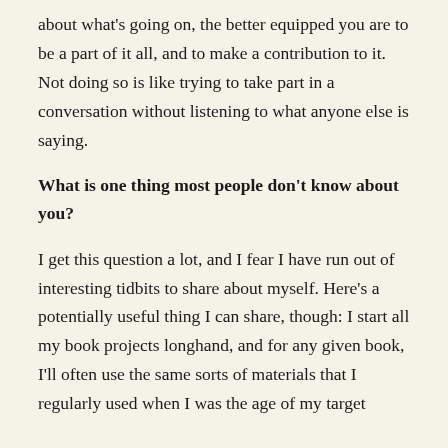about what's going on, the better equipped you are to be a part of it all, and to make a contribution to it. Not doing so is like trying to take part in a conversation without listening to what anyone else is saying.
What is one thing most people don't know about you?
I get this question a lot, and I fear I have run out of interesting tidbits to share about myself. Here's a potentially useful thing I can share, though: I start all my book projects longhand, and for any given book, I'll often use the same sorts of materials that I regularly used when I was the age of my target